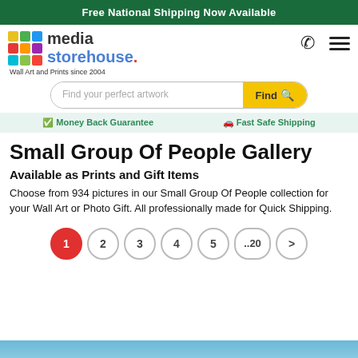Free National Shipping Now Available
[Figure (logo): Media Storehouse logo with colorful grid squares and text 'media storehouse.' and tagline 'Wall Art and Prints since 2004']
Find your perfect artwork
Money Back Guarantee   Fast Safe Shipping
Small Group Of People Gallery
Available as Prints and Gift Items
Choose from 934 pictures in our Small Group Of People collection for your Wall Art or Photo Gift. All professionally made for Quick Shipping.
1  2  3  4  5  ..20  >